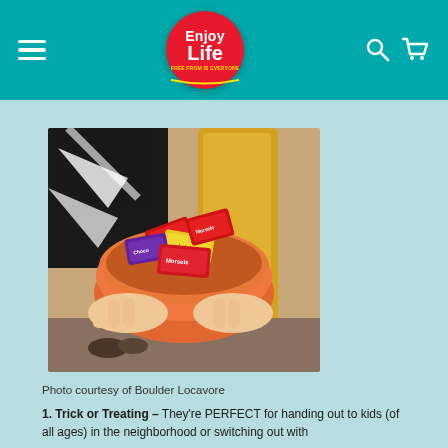Enjoy Life [logo] [hamburger menu] [search] [cart]
[Figure (photo): Person in black and white costume holding an orange bowl filled with colorful Enjoy Life candy snack packets including Mini Chips and Morsels]
Photo courtesy of Boulder Locavore
1. Trick or Treating – They're PERFECT for handing out to kids (of all ages) in the neighborhood or switching out with